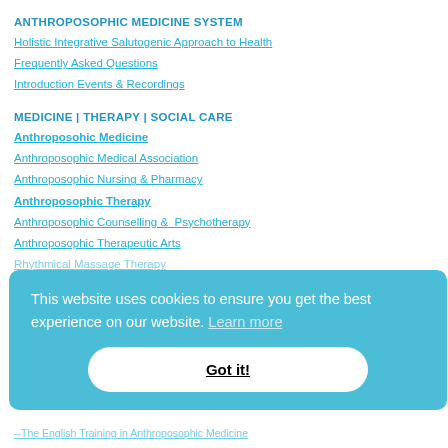ANTHROPOSOPHIC MEDICINE SYSTEM
Holistic Integrative Salutogenic Approach to Health
Frequently Asked Questions
Introduction Events & Recordings
MEDICINE | THERAPY | SOCIAL CARE
Anthroposohic Medicine
Anthroposophic Medical Association
Anthroposophic Nursing & Pharmacy
Anthroposophic Therapy
Anthroposophic Counselling & Psychotherapy
Anthroposophic Therapeutic Arts
Rhythmical Massage Therapy
This website uses cookies to ensure you get the best experience on our website. Learn more
Got it!
--The English Training in Anthroposophic Medicine